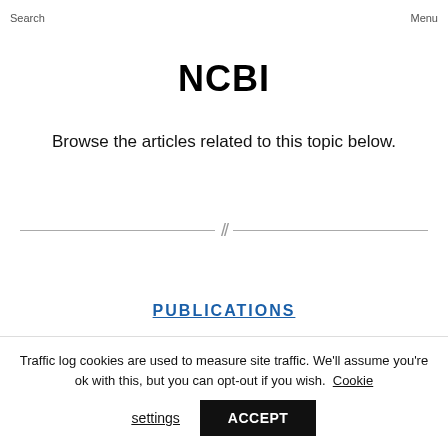Search  Menu
NCBI
Browse the articles related to this topic below.
// (decorative divider)
PUBLICATIONS
Traffic log cookies are used to measure site traffic. We'll assume you're ok with this, but you can opt-out if you wish. Cookie settings  ACCEPT